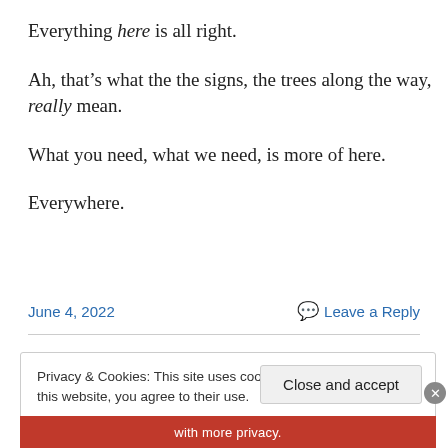Everything here is all right.
Ah, that’s what the the signs, the trees along the way, really mean.
What you need, what we need, is more of here.
Everywhere.
June 4, 2022      Leave a Reply
Privacy & Cookies: This site uses cookies. By continuing to use this website, you agree to their use. To find out more, including how to control cookies, see here: Cookie Policy
Close and accept